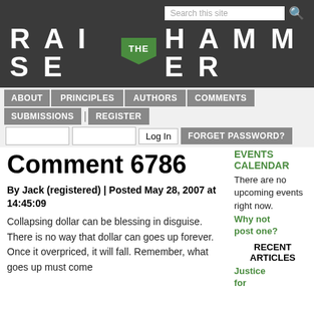RAISE THE HAMMER
ABOUT
PRINCIPLES
AUTHORS
COMMENTS
SUBMISSIONS
REGISTER
Log In  FORGET PASSWORD?
Comment 6786
By Jack (registered) | Posted May 28, 2007 at 14:45:09
Collapsing dollar can be blessing in disguise. There is no way that dollar can goes up forever. Once it overpriced, it will fall. Remember, what goes up must come
EVENTS CALENDAR
There are no upcoming events right now.
Why not post one?
RECENT ARTICLES
Justice for